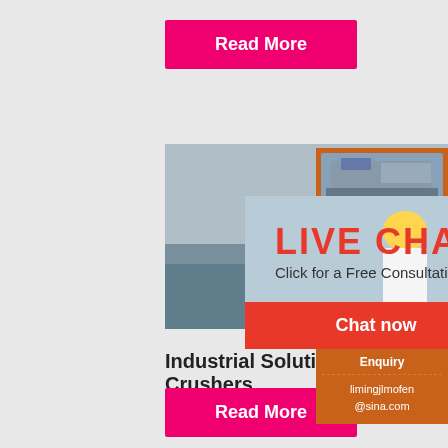Read More
[Figure (photo): Live chat overlay showing workers in hard hats with LIVE CHAT text, Chat now and Chat later buttons]
Industrial Solutions Jaw Crushers ThyssenKrupp
2021-9-8   with a double-toggle jaw crus...
[Figure (photo): Orange sidebar ad with crusher machine images, Enjoy 3% discount, Click to Chat, Enquiry, limingjlmofen@sina.com]
Read More